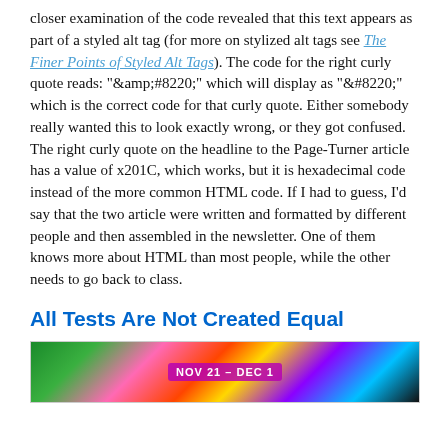closer examination of the code revealed that this text appears as part of a styled alt tag (for more on stylized alt tags see The Finer Points of Styled Alt Tags). The code for the right curly quote reads: "&amp;#8220;" which will display as "&#8220;" which is the correct code for that curly quote. Either somebody really wanted this to look exactly wrong, or they got confused. The right curly quote on the headline to the Page-Turner article has a value of x201C, which works, but it is hexadecimal code instead of the more common HTML code. If I had to guess, I'd say that the two article were written and formatted by different people and then assembled in the newsletter. One of them knows more about HTML than most people, while the other needs to go back to class.
All Tests Are Not Created Equal
[Figure (photo): Colorful festive image with bright neon colors and text overlay reading NOV 21 - DEC 1]